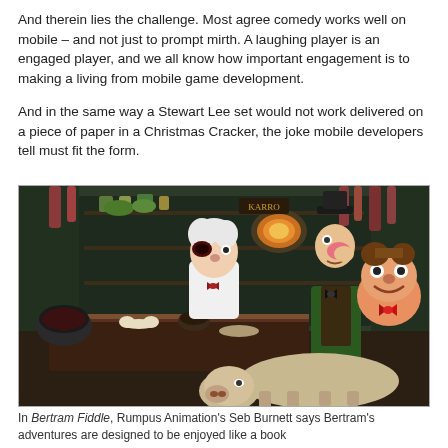And therein lies the challenge. Most agree comedy works well on mobile – and not just to prompt mirth. A laughing player is an engaged player, and we all know how important engagement is to making a living from mobile game development.
And in the same way a Stewart Lee set would not work delivered on a piece of paper in a Christmas Cracker, the joke mobile developers tell must fit the form.
[Figure (illustration): A cartoon scene inside a butcher shop or similar Victorian-era store. Behind a counter stands a white-haired character with a bruised eye wearing a white apron. Next to the counter is a character in a green coat and top hat with a large red nose. A pig or animal carcass is on the floor in the foreground. The shop background shows shelves with jars, hanging meats, and green leafy items.]
In Bertram Fiddle, Rumpus Animation's Seb Burnett says Bertram's adventures are designed to be enjoyed like a book